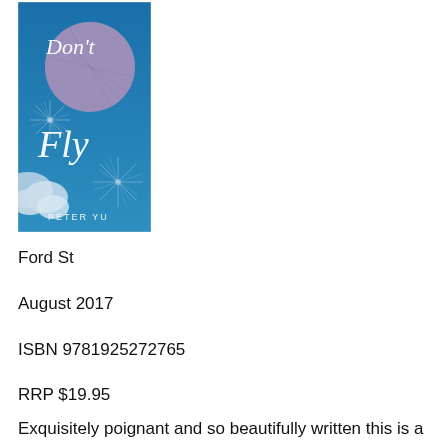[Figure (illustration): Book cover for 'Don't Fly' by Peter Yu. Blue sky background with clouds, a large purple/lavender circle (moon or balloon), and decorative starburst/firework designs in white. Title text 'Don't Fly' in white script lettering and author name 'PETER YU' in white capital letters.]
Ford St
August 2017
ISBN 9781925272765
RRP $19.95
Exquisitely poignant and so beautifully written this is a